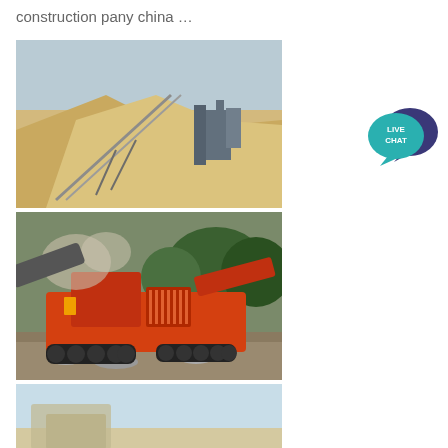construction pany china …
[Figure (photo): Outdoor quarry/mining site with a large conveyor belt system over a gravel/sand pile, industrial equipment in background under a clear sky]
[Figure (photo): Orange mobile crusher/screening machine operating on a rocky site with dust cloud and trees in background]
[Figure (photo): Partial view of construction/mining equipment against a light blue sky]
[Figure (logo): Live Chat button/icon with teal speech bubble and dark purple speech bubble overlay, text reads LIVE CHAT]